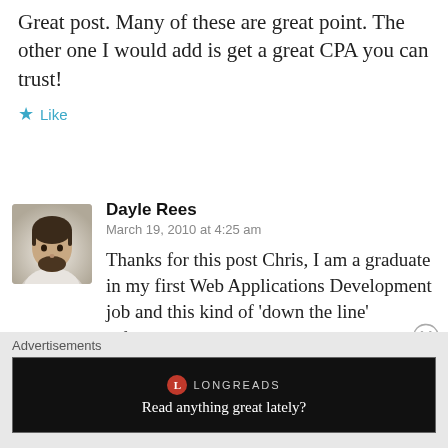Great post. Many of these are great point. The other one I would add is get a great CPA you can trust!
★ Like
Dayle Rees
March 19, 2010 at 4:25 am
[Figure (photo): Avatar photo of commenter Dayle Rees, a man with short dark hair and a beard, wearing a light hoodie]
Thanks for this post Chris, I am a graduate in my first Web Applications Development job and this kind of ‘down the line’ information is incredibly handy to me.
Advertisements
[Figure (screenshot): Longreads advertisement banner with dark background, Longreads logo (red circle with L), and text 'Read anything great lately?']